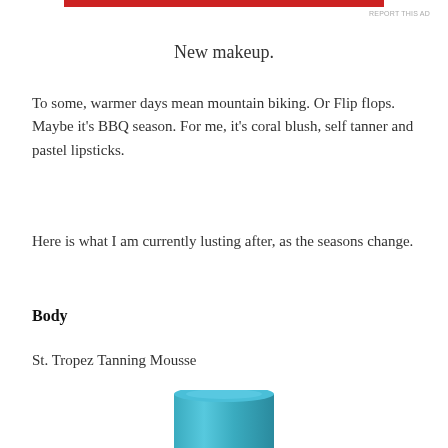REPORT THIS AD
New makeup.
To some, warmer days mean mountain biking. Or Flip flops. Maybe it's BBQ season. For me, it's coral blush, self tanner and pastel lipsticks.
Here is what I am currently lusting after, as the seasons change.
Body
St. Tropez Tanning Mousse
[Figure (photo): Teal/turquoise cylindrical product container (St. Tropez Tanning Mousse can), cropped at bottom of page]